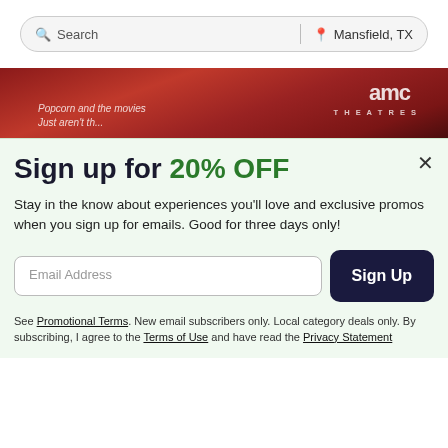[Figure (screenshot): Search bar with 'Search' placeholder on left and 'Mansfield, TX' location on right]
[Figure (photo): AMC Theatres red branded interior photo strip with partial text and AMC logo]
AMC DINE-IN Clearfork 8
Sign up for 20% OFF
Stay in the know about experiences you'll love and exclusive promos when you sign up for emails. Good for three days only!
Email Address
Sign Up
See Promotional Terms. New email subscribers only. Local category deals only. By subscribing, I agree to the Terms of Use and have read the Privacy Statement